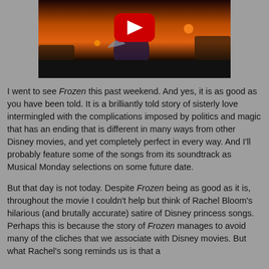[Figure (screenshot): YouTube video thumbnail showing an animated scene from Frozen with a sunset/orange sky background and a YouTube play button overlay.]
I went to see Frozen this past weekend. And yes, it is as good as you have been told. It is a brilliantly told story of sisterly love intermingled with the complications imposed by politics and magic that has an ending that is different in many ways from other Disney movies, and yet completely perfect in every way. And I'll probably feature some of the songs from its soundtrack as Musical Monday selections on some future date.
But that day is not today. Despite Frozen being as good as it is, throughout the movie I couldn't help but think of Rachel Bloom's hilarious (and brutally accurate) satire of Disney princess songs. Perhaps this is because the story of Frozen manages to avoid many of the cliches that we associate with Disney movies. But what Rachel's song reminds us is that a